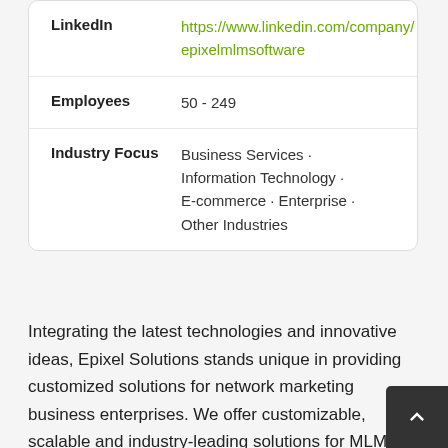| Field | Value |
| --- | --- |
| LinkedIn | https://www.linkedin.com/company/epixelmlmsoftware |
| Employees | 50 - 249 |
| Industry Focus | Business Services · Information Technology · E-commerce · Enterprise · Other Industries |
Integrating the latest technologies and innovative ideas, Epixel Solutions stands unique in providing customized solutions for network marketing business enterprises. We offer customizable, scalable and industry-leading solutions for MLM business needs with features that enhance customers' business. As a powerful team focusing on customer satisfaction and assuring quality-driven MLM solutions, Epixel expands its presence globally. We ass the right solutions and unique features to make our